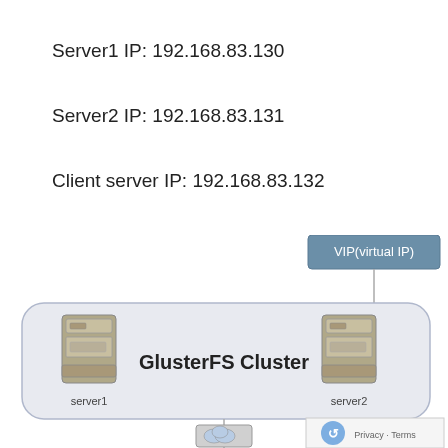Server1 IP: 192.168.83.130
Server2 IP: 192.168.83.131
Client server IP: 192.168.83.132
[Figure (network-graph): Network diagram showing a GlusterFS Cluster with server1 and server2 inside a rounded rectangle, connected via a VIP (virtual IP) node at the top and a client computer at the bottom.]